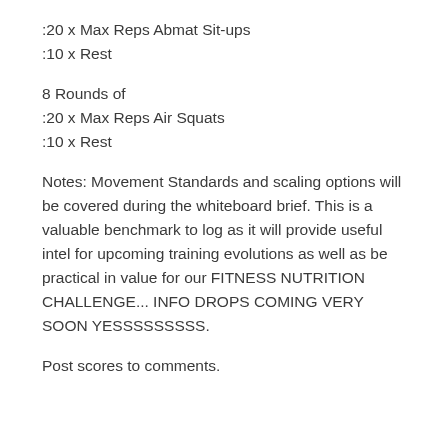:20 x Max Reps Abmat Sit-ups
:10 x Rest
8 Rounds of
:20 x Max Reps Air Squats
:10 x Rest
Notes: Movement Standards and scaling options will be covered during the whiteboard brief. This is a valuable benchmark to log as it will provide useful intel for upcoming training evolutions as well as be practical in value for our FITNESS NUTRITION CHALLENGE... INFO DROPS COMING VERY SOON YESSSSSSSSS.
Post scores to comments.